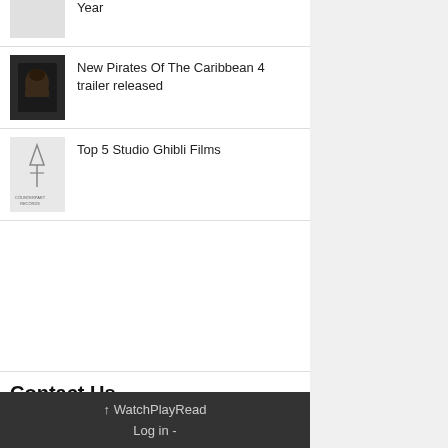Year
New Pirates Of The Caribbean 4 trailer released
Top 5 Studio Ghibli Films
Contact Us
contact@watchplayread.com
↑ WatchPlayRead
Log in -